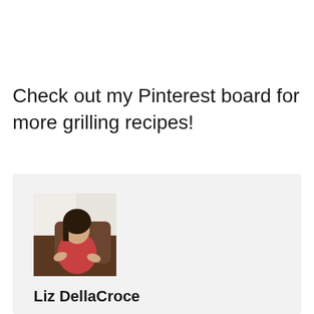Check out my Pinterest board for more grilling recipes!
[Figure (photo): Author photo of Liz DellaCroce sitting in a brown chair wearing a red top, light indoor background]
Liz DellaCroce
Liz Della Croce is the creator and author of The Lemon Bowl, a healthy food blog.